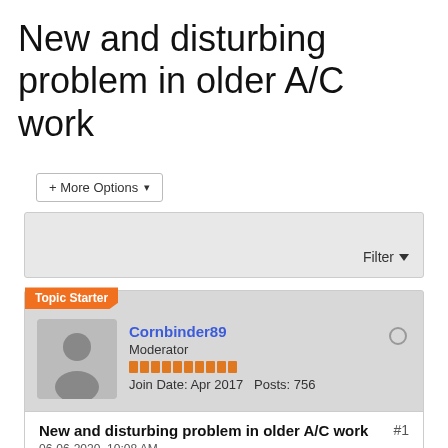New and disturbing problem in older A/C work
+ More Options ▾
Filter ▼
Topic Starter
Cornbinder89
Moderator
Join Date: Apr 2017  Posts: 756
New and disturbing problem in older A/C work  #1
06-06-2020, 10:08 AM